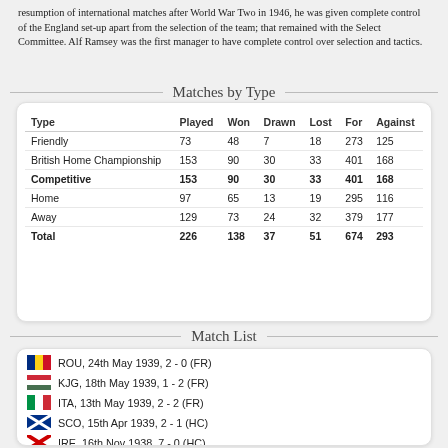resumption of international matches after World War Two in 1946, he was given complete control of the England set-up apart from the selection of the team; that remained with the Select Committee. Alf Ramsey was the first manager to have complete control over selection and tactics.
Matches by Type
| Type | Played | Won | Drawn | Lost | For | Against |
| --- | --- | --- | --- | --- | --- | --- |
| Friendly | 73 | 48 | 7 | 18 | 273 | 125 |
| British Home Championship | 153 | 90 | 30 | 33 | 401 | 168 |
| Competitive | 153 | 90 | 30 | 33 | 401 | 168 |
| Home | 97 | 65 | 13 | 19 | 295 | 116 |
| Away | 129 | 73 | 24 | 32 | 379 | 177 |
| Total | 226 | 138 | 37 | 51 | 674 | 293 |
Match List
ROU, 24th May 1939, 2-0 (FR)
KJG, 18th May 1939, 1-2 (FR)
ITA, 13th May 1939, 2-2 (FR)
SCO, 15th Apr 1939, 2-1 (HC)
IRE, 16th Nov 1938, 7-0 (HC)
NOR, 9th Nov 1938, 4-0 (FR)